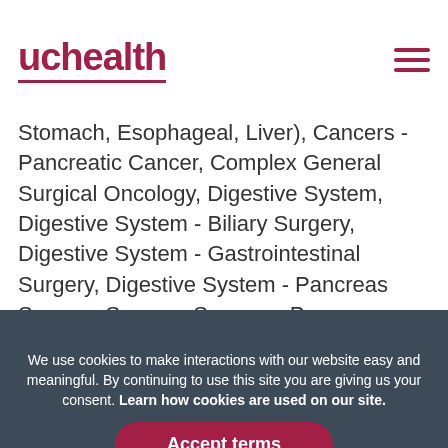uchealth
Cancer, Cancer - Biliary Cancer, Cancers - GI Cancers - Cancer Surgery, Cancers - Gastrointestinal Origin Cancer (Colon, Stomach, Esophageal, Liver), Cancers - Pancreatic Cancer, Complex General Surgical Oncology, Digestive System, Digestive System - Biliary Surgery, Digestive System - Gastrointestinal Surgery, Digestive System - Pancreas Surgery, Surgery, Surgery - Pancreas Transplant Surgery
We use cookies to make interactions with our website easy and meaningful. By continuing to use this site you are giving us your consent. Learn how cookies are used on our site.
Accept terms